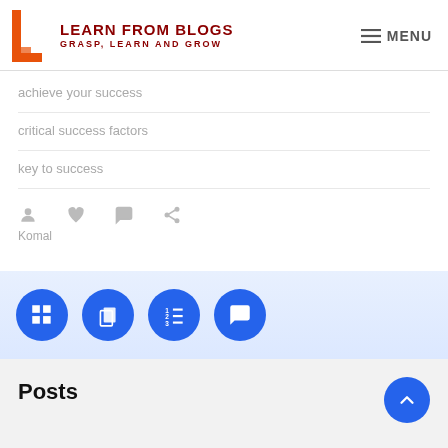[Figure (logo): Learn From Blogs logo with orange L icon and dark red text LEARN FROM BLOGS / GRASP, LEARN AND GROW]
≡ MENU
achieve your success
critical success factors
key to success
[Figure (infographic): Social icons row: person, heart, comment, share. Author name: Komal]
[Figure (infographic): Four blue circular icon buttons: list/grid, copy/file, numbered list, and comment/chat]
Posts